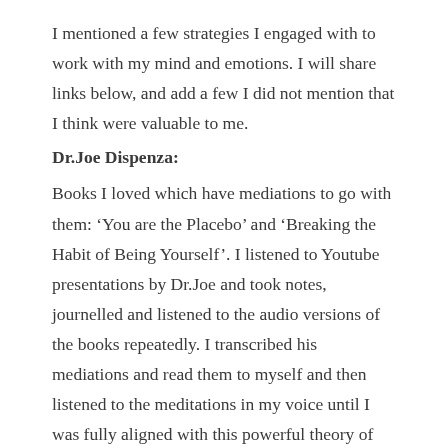I mentioned a few strategies I engaged with to work with my mind and emotions. I will share links below, and add a few I did not mention that I think were valuable to me.
Dr.Joe Dispenza:
Books I loved which have mediations to go with them: ‘You are the Placebo’ and ‘Breaking the Habit of Being Yourself’. I listened to Youtube presentations by Dr.Joe and took notes, journelled and listened to the audio versions of the books repeatedly. I transcribed his mediations and read them to myself and then listened to the meditations in my voice until I was fully aligned with this powerful theory of change.
Below is a short snippet of a video I recorded of myself